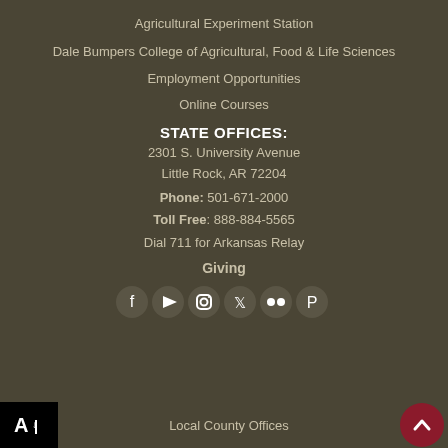Agricultural Experiment Station
Dale Bumpers College of Agricultural, Food & Life Sciences
Employment Opportunities
Online Courses
STATE OFFICES:
2301 S. University Avenue
Little Rock, AR 72204
Phone: 501-671-2000
Toll Free: 888-884-5565
Dial 711 for Arkansas Relay
Giving
[Figure (infographic): Social media icons row: Facebook, YouTube, Instagram, Twitter, Flickr, Pinterest]
[Figure (infographic): ADA accessibility logo button (black box with A and arrow icon)]
[Figure (infographic): Scroll-to-top button (dark red circle with upward chevron)]
Local County Offices